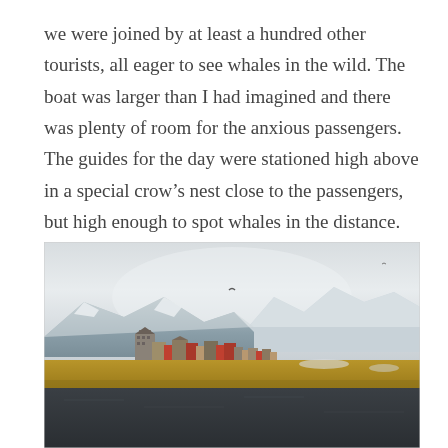we were joined by at least a hundred other tourists, all eager to see whales in the wild. The boat was larger than I had imagined and there was plenty of room for the anxious passengers. The guides for the day were stationed high above in a special crow's nest close to the passengers, but high enough to spot whales in the distance.
[Figure (photo): A coastal town with buildings and houses along a waterfront, backed by snow-capped mountains under an overcast sky. The foreground shows dark water and a strip of golden/brown marshland. The scene appears to be an Icelandic or Nordic town viewed from the water.]